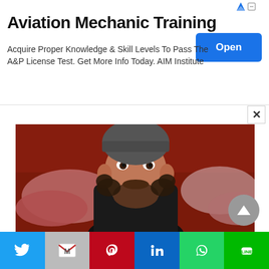Aviation Mechanic Training
Acquire Proper Knowledge & Skill Levels To Pass The A&P License Test. Get More Info Today. AIM Institute
[Figure (photo): Young bearded man wearing a dark knit beanie, sitting in a room with red/warm lighting, pillows in background, looking at camera]
[Figure (infographic): Social media sharing bar with Twitter, Gmail, Pinterest, LinkedIn, WhatsApp, and LINE buttons]